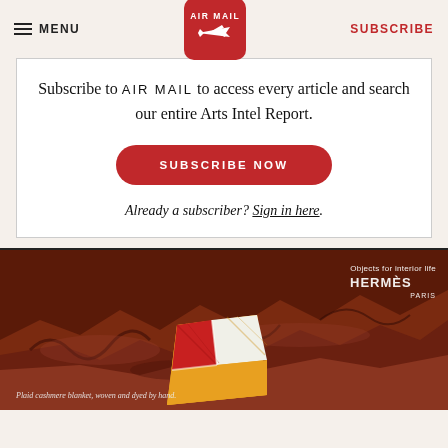MENU | AIR MAIL | SUBSCRIBE
Subscribe to AIR MAIL to access every article and search our entire Arts Intel Report.
SUBSCRIBE NOW
Already a subscriber? Sign in here.
[Figure (photo): Hermès advertisement showing a red/orange rocky desert landscape with a colorful plaid cashmere blanket. Text reads 'Objects for interior life HERMÈS PARIS' and 'Plaid cashmere blanket, woven and dyed by hand.']